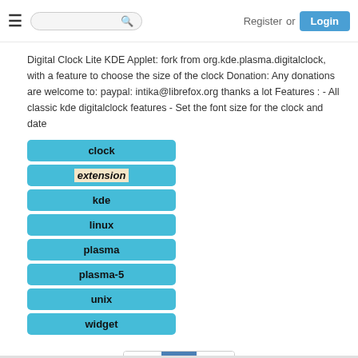Register or Login
Digital Clock Lite KDE Applet: fork from org.kde.plasma.digitalclock, with a feature to choose the size of the clock Donation: Any donations are welcome to: paypal: intika@librefox.org thanks a lot Features : - All classic kde digitalclock features - Set the font size for the clock and date
clock
extension
kde
linux
plasma
plasma-5
unix
widget
<< 1 >>